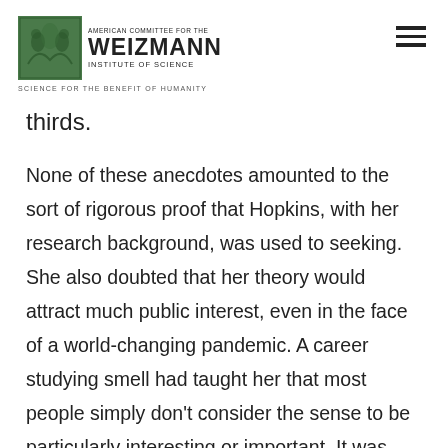AMERICAN COMMITTEE FOR THE WEIZMANN INSTITUTE OF SCIENCE | SCIENCE FOR THE BENEFIT OF HUMANITY
thirds.
None of these anecdotes amounted to the sort of rigorous proof that Hopkins, with her research background, was used to seeking. She also doubted that her theory would attract much public interest, even in the face of a world-changing pandemic. A career studying smell had taught her that most people simply don't consider the sense to be particularly interesting or important. It was always hard to get financing to study smell or smell